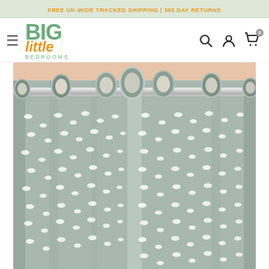FREE UK-WIDE TRACKED SHIPPING | 365 DAY RETURNS
[Figure (logo): Big Little Bedrooms logo with hamburger menu and search/account/cart icons]
[Figure (photo): Close-up photo of grey curtains with white cloud pattern, hung on a silver curtain rod with eyelet rings]